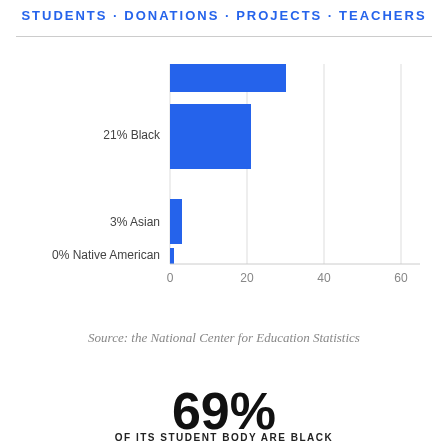STUDENTS · DONATIONS · PROJECTS · TEACHERS
[Figure (bar-chart): Student demographics]
Source: the National Center for Education Statistics
69%
OF ITS STUDENT BODY ARE BLACK